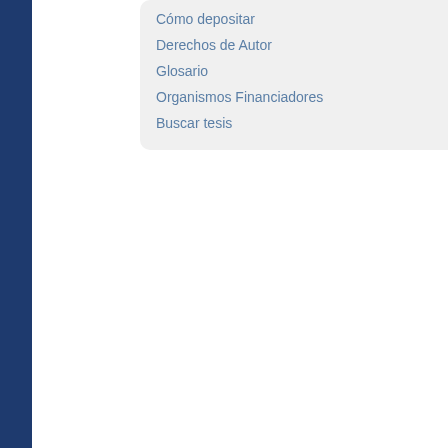Cómo depositar
Derechos de Autor
Glosario
Organismos Financiadores
Buscar tesis
| Finlandia |
| Italia |
| Grecia |
| Holanda |
| Suecia |
| Suiza |
| India |
Ciudades con m
|  |
| --- |
| Ashb |
| Flore |
| Ma |
| Hels |
| Amator |